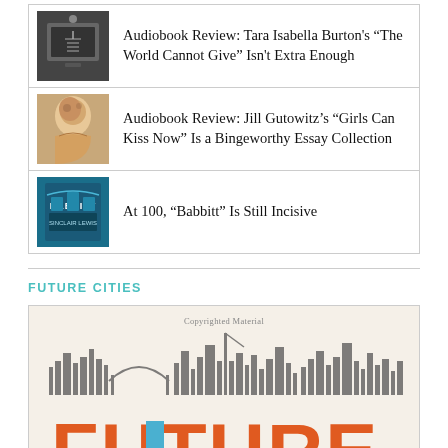Audiobook Review: Tara Isabella Burton’s “The World Cannot Give” Isn't Extra Enough
Audiobook Review: Jill Gutowitz’s “Girls Can Kiss Now” Is a Bingeworthy Essay Collection
At 100, “Babbitt” Is Still Incisive
FUTURE CITIES
[Figure (illustration): Book cover for 'Future Cities' showing large orange block letters spelling FUTURE with a city skyline silhouette above. Text 'Copyrighted Material' appears at the top.]